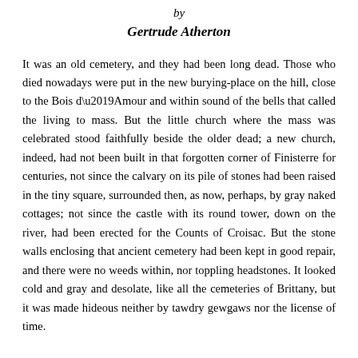by
Gertrude Atherton
It was an old cemetery, and they had been long dead. Those who died nowadays were put in the new burying-place on the hill, close to the Bois d’Amour and within sound of the bells that called the living to mass. But the little church where the mass was celebrated stood faithfully beside the older dead; a new church, indeed, had not been built in that forgotten corner of Finisterre for centuries, not since the calvary on its pile of stones had been raised in the tiny square, surrounded then, as now, perhaps, by gray naked cottages; not since the castle with its round tower, down on the river, had been erected for the Counts of Croisac. But the stone walls enclosing that ancient cemetery had been kept in good repair, and there were no weeds within, nor toppling headstones. It looked cold and gray and desolate, like all the cemeteries of Brittany, but it was made hideous neither by tawdry gewgaws nor the license of time.